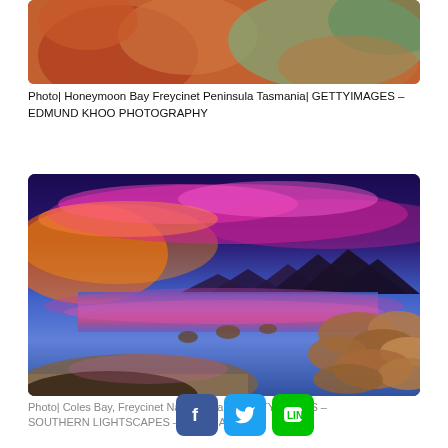[Figure (photo): Close-up of orange/red rock formations at Honeymoon Bay Freycinet Peninsula Tasmania, with teal-green water visible in the upper right]
Photo| Honeymoon Bay Freycinet Peninsula Tasmania| GETTYIMAGES – EDMUND KHOO PHOTOGRAPHY
[Figure (photo): Dramatic sunset at Coles Bay, Freycinet National Park, with vivid pink and orange clouds reflected in calm water, rocky shoreline in foreground, mountains in background]
Photo| Coles Bay, Freycinet National Park| GETTYIMAGES – SOUTHERN LIGHTSCAPES – AUSTRA…